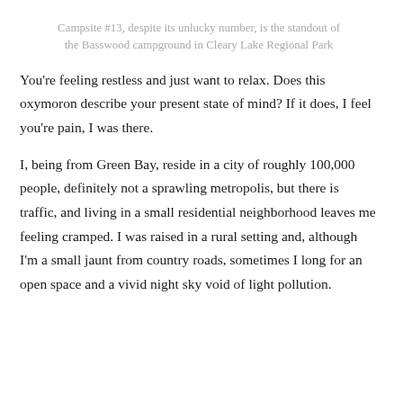Campsite #13, despite its unlucky number, is the standout of the Basswood campground in Cleary Lake Regional Park
You're feeling restless and just want to relax.  Does this oxymoron describe your present state of mind?  If it does, I feel you're pain, I was there.
I, being from Green Bay, reside in a city of roughly 100,000 people, definitely not a sprawling metropolis, but there is traffic, and living in a small residential neighborhood leaves me feeling cramped.   I was raised in a rural setting and, although I'm a small jaunt from country roads,  sometimes I long for an open space and a vivid night sky void of light pollution.